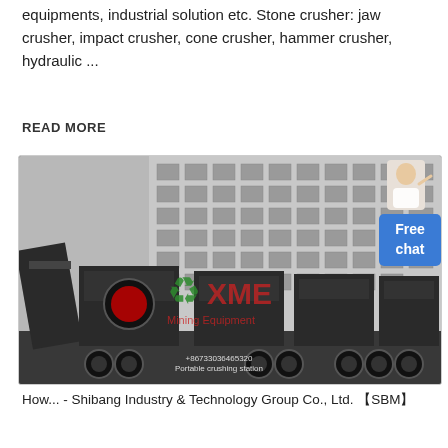equipments, industrial solution etc. Stone crusher: jaw crusher, impact crusher, cone crusher, hammer crusher, hydraulic ...
READ MORE
[Figure (photo): Photo of a large mobile stone crushing plant assembly on a truck, with dark-colored crusher units (jaw crusher, cone crusher, vibrating screen) loaded on a semi-trailer. A building facade is visible in the background. An XME Mining Equipment watermark with a green recycling symbol and red text is overlaid on the image. A blue 'Free chat' button with a female avatar icon is visible on the right side.]
How... - Shibang Industry & Technology Group Co., Ltd. 【SBM】